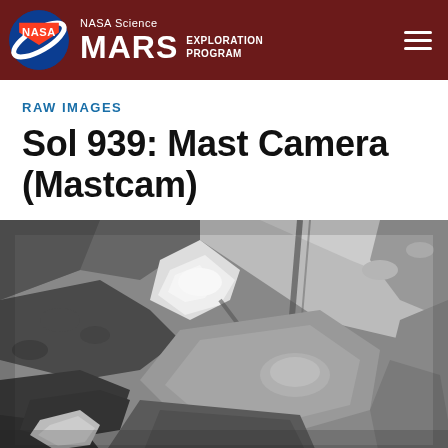NASA Science MARS EXPLORATION PROGRAM
RAW IMAGES
Sol 939: Mast Camera (Mastcam)
[Figure (photo): Black and white raw image from Mars Curiosity Rover Mastcam camera on Sol 939, showing rocky Martian terrain with varied rock formations and textures.]